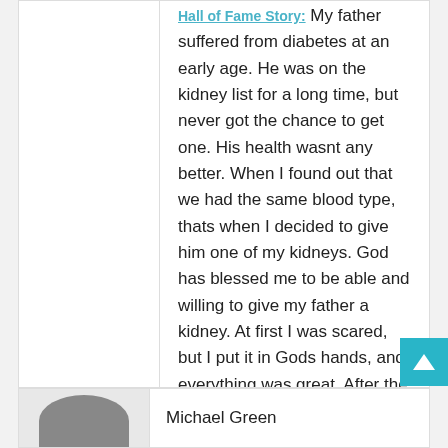Hall of Fame Story: My father suffered from diabetes at an early age. He was on the kidney list for a long time, but never got the chance to get one. His health wasnt any better. When I found out that we had the same blood type, thats when I decided to give him one of my kidneys. God has blessed me to be able and willing to give my father a kidney. At first I was scared, but I put it in Gods hands, and everything was great. After the surgery my life changed. I lost the good job that I had. And I have a lot of bills that need to be paid.
Michael Green